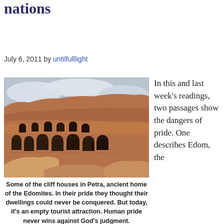nations
July 6, 2011 by untilfulllight
[Figure (photo): Cliff houses carved into red sandstone rock face in Petra, ancient home of the Edomites]
In this and last week's readings, two passages show the dangers of pride. One describes Edom, the
Some of the cliff houses in Petra, ancient home of the Edomites. In their pride they thought their dwellings could never be conquered. But today, it's an empty tourist attraction. Human pride never wins against God's judgment.